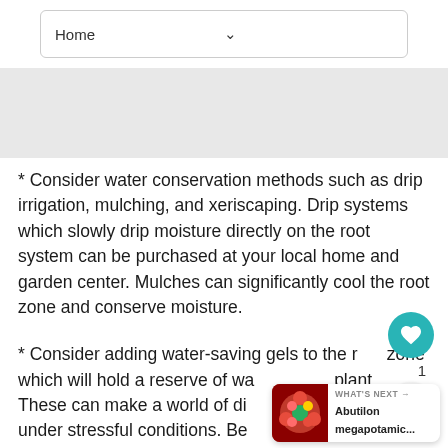Home
* Consider water conservation methods such as drip irrigation, mulching, and xeriscaping. Drip systems which slowly drip moisture directly on the root system can be purchased at your local home and garden center. Mulches can significantly cool the root zone and conserve moisture.
* Consider adding water-saving gels to the root zone which will hold a reserve of water for the plant. These can make a world of difference especially under stressful conditions. Be